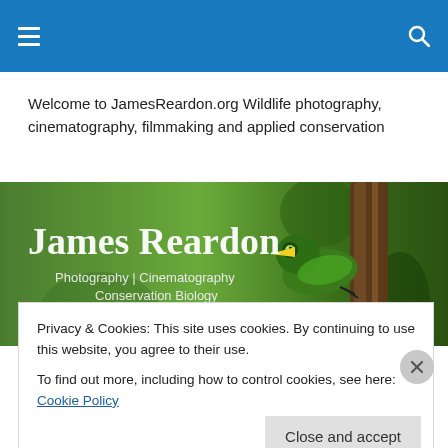Navigation bar with hamburger menu and search icon
Welcome to JamesReardon.org Wildlife photography, cinematography, filmmaking and applied conservation
[Figure (illustration): James Reardon website banner with dark green blurred background, green bird (kingfisher) perched on a brown branch on the right, and text 'James Reardon' in large serif font with 'Photography | Cinematography Conservation Biology' below it]
Hallowed Isles – trailer 1
Privacy & Cookies: This site uses cookies. By continuing to use this website, you agree to their use.
To find out more, including how to control cookies, see here: Cookie Policy
Close and accept